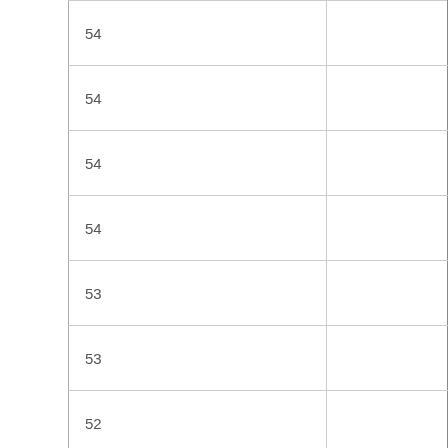| 54 |  |
| 54 |  |
| 54 |  |
| 54 |  |
| 53 |  |
| 53 |  |
| 52 |  |
| 51 |  |
| 51 |  |